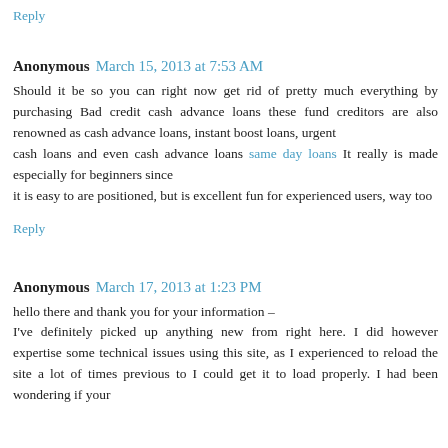Reply
Anonymous  March 15, 2013 at 7:53 AM
Should it be so you can right now get rid of pretty much everything by purchasing Bad credit cash advance loans these fund creditors are also renowned as cash advance loans, instant boost loans, urgent cash loans and even cash advance loans same day loans It really is made especially for beginners since it is easy to are positioned, but is excellent fun for experienced users, way too
Reply
Anonymous  March 17, 2013 at 1:23 PM
hello there and thank you for your information – I've definitely picked up anything new from right here. I did however expertise some technical issues using this site, as I experienced to reload the site a lot of times previous to I could get it to load properly. I had been wondering if your